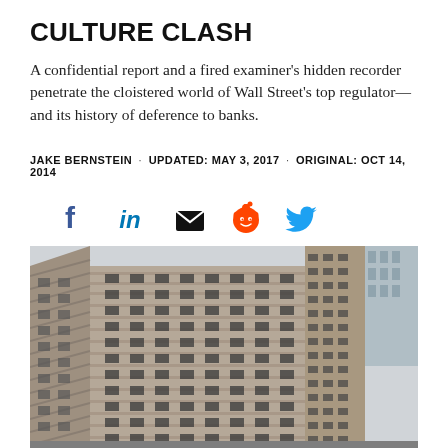CULTURE CLASH
A confidential report and a fired examiner's hidden recorder penetrate the cloistered world of Wall Street's top regulator—and its history of deference to banks.
JAKE BERNSTEIN · UPDATED: MAY 3, 2017 · ORIGINAL: OCT 14, 2014
[Figure (infographic): Social sharing icons: Facebook (blue), LinkedIn (blue), Email/envelope (black), Reddit (orange), Twitter (blue)]
[Figure (photo): Exterior photograph of a large stone institutional building, likely the Federal Reserve Bank of New York, showing many floors of windows and stone facade, viewed from street level at an angle.]